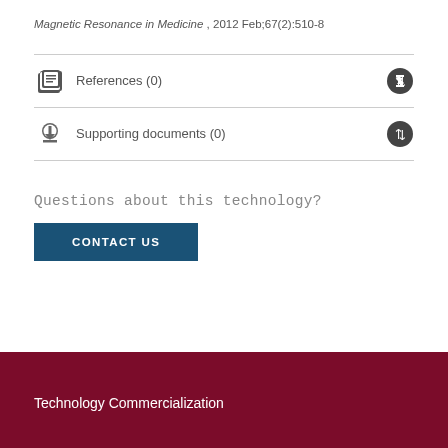Magnetic Resonance in Medicine , 2012 Feb;67(2):510-8
References (0)
Supporting documents (0)
Questions about this technology?
CONTACT US
Technology Commercialization